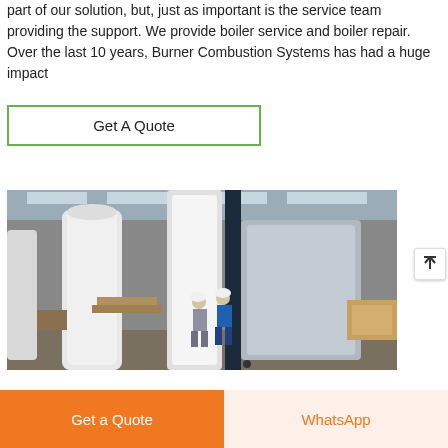part of our solution, but, just as important is the service team providing the support. We provide boiler service and boiler repair. Over the last 10 years, Burner Combustion Systems has had a huge impact
Get A Quote
[Figure (photo): Industrial warehouse/factory floor showing large white cylindrical boiler equipment wrapped in protective covering, with workers in hard hats inspecting the units. A tall white boiler tower is visible on the left, and wrapped equipment on the right. The setting is a large manufacturing facility with overhead cranes and skylights.]
Get a Quote
WhatsApp